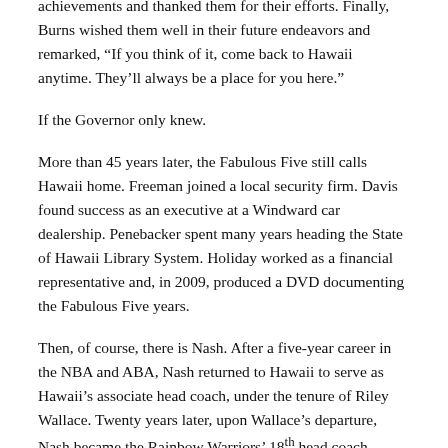achievements and thanked them for their efforts. Finally, Burns wished them well in their future endeavors and remarked, “If you think of it, come back to Hawaii anytime. They’ll always be a place for you here.”
If the Governor only knew.
More than 45 years later, the Fabulous Five still calls Hawaii home. Freeman joined a local security firm. Davis found success as an executive at a Windward car dealership. Penebacker spent many years heading the State of Hawaii Library System. Holiday worked as a financial representative and, in 2009, produced a DVD documenting the Fabulous Five years.
Then, of course, there is Nash. After a five-year career in the NBA and ABA, Nash returned to Hawaii to serve as Hawaii’s associate head coach, under the tenure of Riley Wallace. Twenty years later, upon Wallace’s departure, Nash became the Rainbow Warriors’ 18th head coach